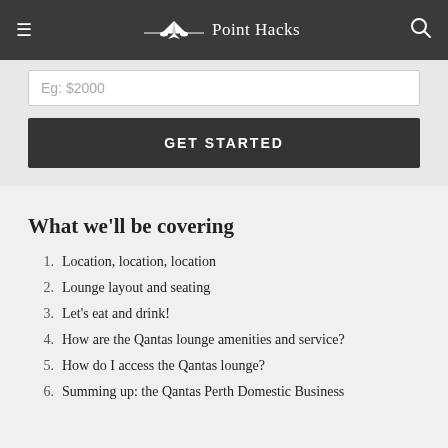≡  ✈ Point Hacks  🔍
Eg: $2000
GET STARTED
What we'll be covering
1. Location, location, location
2. Lounge layout and seating
3. Let's eat and drink!
4. How are the Qantas lounge amenities and service?
5. How do I access the Qantas lounge?
6. Summing up: the Qantas Perth Domestic Business